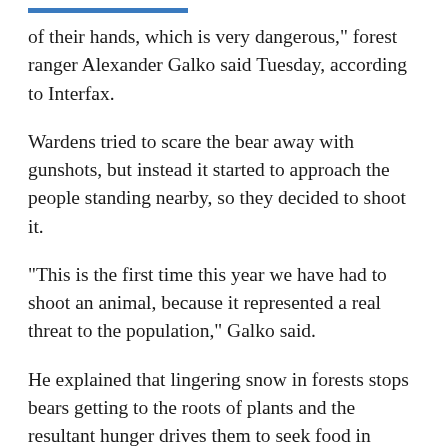of their hands, which is very dangerous," forest ranger Alexander Galko said Tuesday, according to Interfax.
Wardens tried to scare the bear away with gunshots, but instead it started to approach the people standing nearby, so they decided to shoot it.
"This is the first time this year we have had to shoot an animal, because it represented a real threat to the population," Galko said.
He explained that lingering snow in forests stops bears getting to the roots of plants and the resultant hunger drives them to seek food in residential areas.